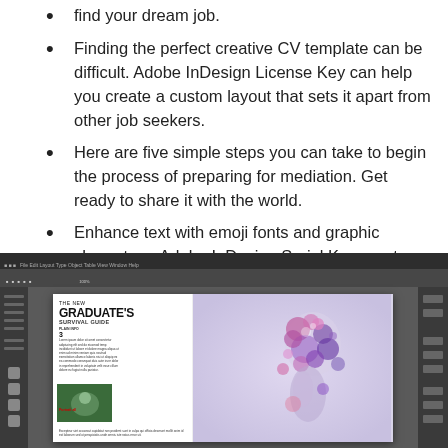find your dream job.
Finding the perfect creative CV template can be difficult. Adobe InDesign License Key can help you create a custom layout that sets it apart from other job seekers.
Here are five simple steps you can take to begin the process of preparing for mediation. Get ready to share it with the world.
Enhance text with emoji fonts and graphic characters. Adobe InDesign Serial Key creates your own intricate glyphs, from waving the flag to adding variety to emotional skin tones.
[Figure (screenshot): Screenshot of Adobe InDesign application showing a magazine layout for 'The New Graduate's Survival Guide' with text columns and a colorful splash-art portrait figure on the right side of the canvas.]